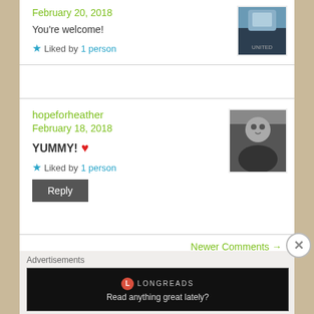February 20, 2018
You're welcome!
Liked by 1 person
[Figure (photo): User avatar thumbnail — blue tones, partial figure visible]
hopeforheather
February 18, 2018
YUMMY! ❤
Liked by 1 person
[Figure (photo): User avatar thumbnail — black and white photo of a cat or small animal]
Reply
Newer Comments →
Advertisements
[Figure (screenshot): Longreads advertisement banner — black background, red circle L logo, text: Read anything great lately?]